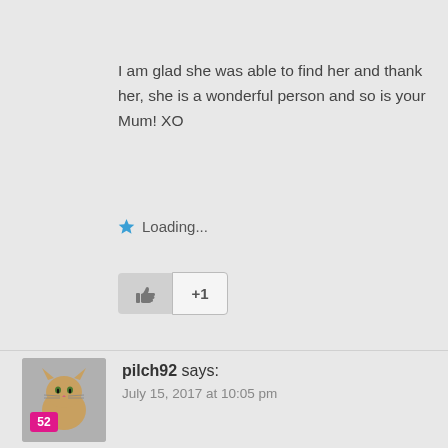I am glad she was able to find her and thank her, she is a wonderful person and so is your Mum! XO
Loading...
+1
pilch92 says:
July 15, 2017 at 10:05 pm
That is wonderful, Lorianne is a sweetie and Mom to The Four-Legged Furballs, I am lucky my folks cater to my every whim. Sometimes I just